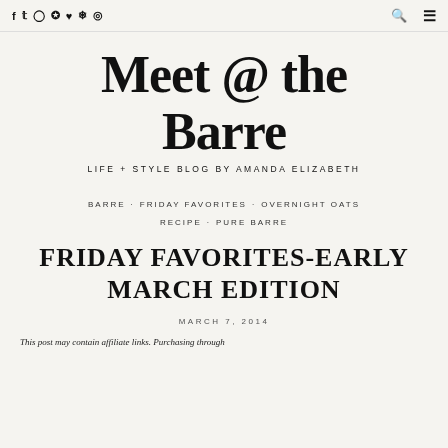f  t  Instagram  Pinterest  Heart  Snapchat  Circle  [search] [menu]
Meet @ the Barre
LIFE + STYLE BLOG BY AMANDA ELIZABETH
BARRE · FRIDAY FAVORITES · OVERNIGHT OATS RECIPE · PURE BARRE
FRIDAY FAVORITES-EARLY MARCH EDITION
MARCH 7, 2014
This post may contain affiliate links. Purchasing through